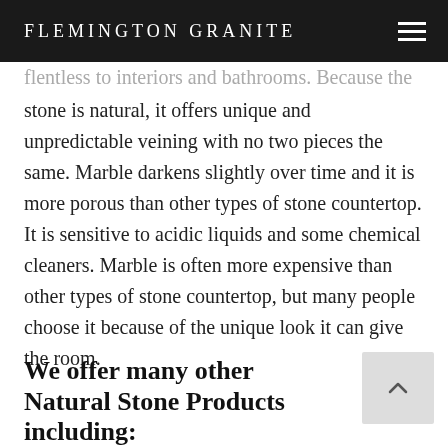FLEMINGTON GRANITE
flentless to interiors and bathrooms. Because the stone is natural, it offers unique and unpredictable veining with no two pieces the same. Marble darkens slightly over time and it is more porous than other types of stone countertop. It is sensitive to acidic liquids and some chemical cleaners. Marble is often more expensive than other types of stone countertop, but many people choose it because of the unique look it can give the room.
We offer many other Natural Stone Products including: